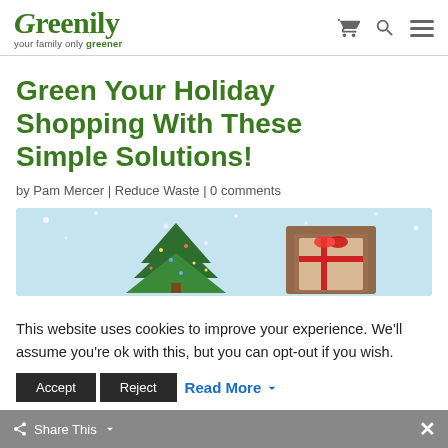Greenily — your family only greener
Green Your Holiday Shopping With These Simple Solutions!
by Pam Mercer | Reduce Waste | 0 comments
[Figure (photo): Holiday shopping photo showing a small decorative Christmas tree and wrapped gift boxes on a light blue snowy background]
This website uses cookies to improve your experience. We'll assume you're ok with this, but you can opt-out if you wish.
Accept  Reject  Read More  Share This  ×